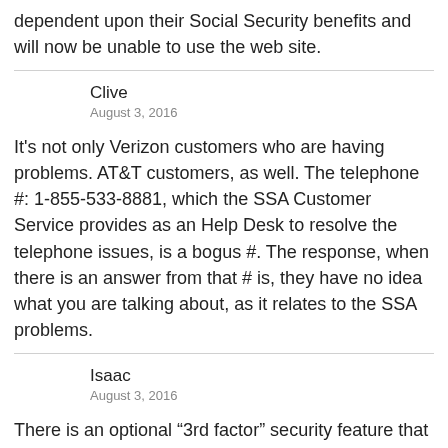dependent upon their Social Security benefits and will now be unable to use the web site.
Clive
August 3, 2016
It's not only Verizon customers who are having problems. AT&T customers, as well. The telephone #: 1-855-533-8881, which the SSA Customer Service provides as an Help Desk to resolve the telephone issues, is a bogus #. The response, when there is an answer from that # is, they have no idea what you are talking about, as it relates to the SSA problems.
Isaac
August 3, 2016
There is an optional “3rd factor” security feature that mySS offers. Once you set up the sms cellphone requirement for 2 factor go over to the Security Features tab and there is another factor offered. You can use the last X